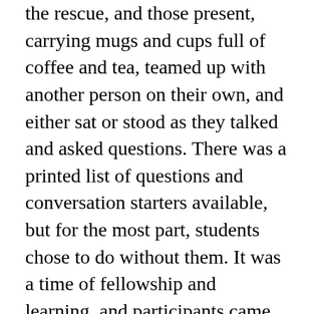the rescue, and those present, carrying mugs and cups full of coffee and tea, teamed up with another person on their own, and either sat or stood as they talked and asked questions. There was a printed list of questions and conversation starters available, but for the most part, students chose to do without them. It was a time of fellowship and learning, and participants came away feeling that they had gotten a chance to start new friendships with people they may not have spoken to without the opportunity given them by the C.O.F.F.E.E. Club. Even when students are already acquainted, getting a chance to talk about hopes, plans and personal stories can hold a strong appeal.